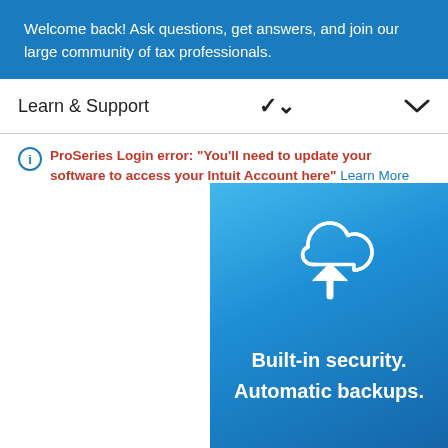Welcome back! Ask questions, get answers, and join our large community of tax professionals.
Learn & Support
ProSeries Login error: "You’ll need to update your software to access your Intuit Account here" Learn More
[Figure (illustration): Blue promotional banner with a white cloud upload icon and white bold text reading 'Built-in security. Automatic backups.']